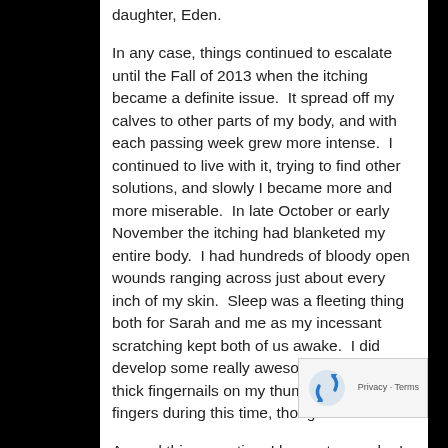daughter, Eden.
In any case, things continued to escalate until the Fall of 2013 when the itching became a definite issue.  It spread off my calves to other parts of my body, and with each passing week grew more intense.  I continued to live with it, trying to find other solutions, and slowly I became more and more miserable.  In late October or early November the itching had blanketed my entire body.  I had hundreds of bloody open wounds ranging across just about every inch of my skin.  Sleep was a fleeting thing both for Sarah and me as my incessant scratching kept both of us awake.  I did develop some really awesome, creepily thick fingernails on my thumbs and pointer fingers during this time, though.
Around this same time I began to cough.  I thought to start with it was just a cold, or possibly a consequence of a sinus infection.  But the itching and...